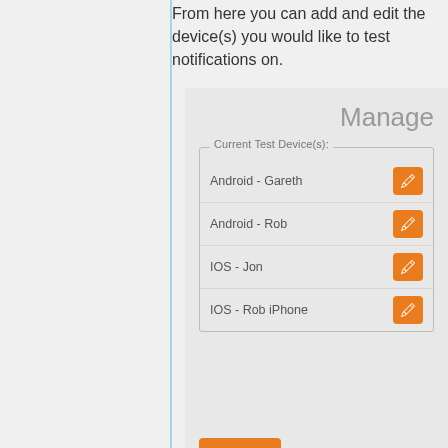From here you can add and edit the device(s) you would like to test notifications on.
[Figure (screenshot): A modal dialog titled 'Manage' showing a list of current test devices: Android - Gareth, Android - Rob, IOS - Jon, IOS - Rob iPhone, each with orange edit buttons. A 'Close' button appears at the bottom.]